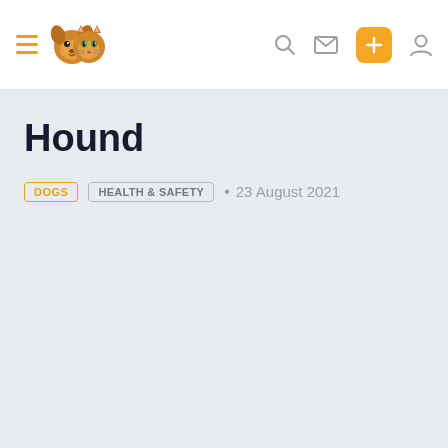Hound — navigation bar with hamburger menu, pet logo, search, mail, add, and profile icons
Hound
DOGS   HEALTH & SAFETY  •  23 August 2021